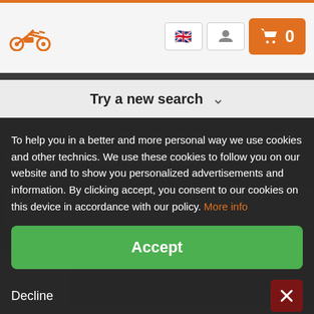[Figure (screenshot): Motorcycle parts website header with logo, UK flag button, user icon button, and orange cart button showing 0 items]
Try a new search
To help you in a better and more personal way we use cookies and other technics. We use these cookies to follow you on our website and to show you personalized advertisements and information. By clicking accept, you consent to our cookies on this device in accordance with our policy. More info
Accept
Decline